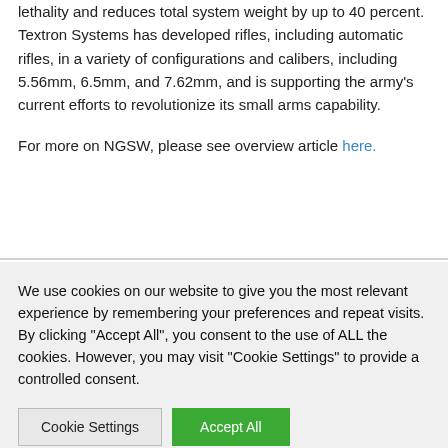lethality and reduces total system weight by up to 40 percent. Textron Systems has developed rifles, including automatic rifles, in a variety of configurations and calibers, including 5.56mm, 6.5mm, and 7.62mm, and is supporting the army's current efforts to revolutionize its small arms capability.
For more on NGSW, please see overview article here.
We use cookies on our website to give you the most relevant experience by remembering your preferences and repeat visits. By clicking "Accept All", you consent to the use of ALL the cookies. However, you may visit "Cookie Settings" to provide a controlled consent.